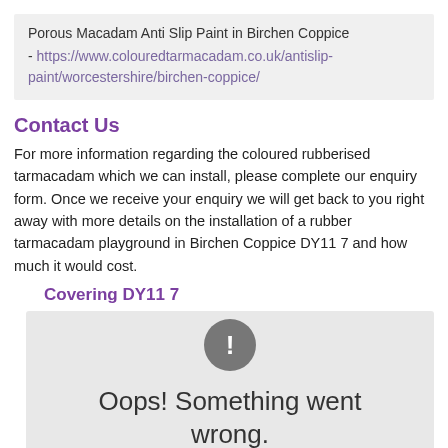Porous Macadam Anti Slip Paint in Birchen Coppice - https://www.colouredtarmacadam.co.uk/antislip-paint/worcestershire/birchen-coppice/
Contact Us
For more information regarding the coloured rubberised tarmacadam which we can install, please complete our enquiry form. Once we receive your enquiry we will get back to you right away with more details on the installation of a rubber tarmacadam playground in Birchen Coppice DY11 7 and how much it would cost.
Covering DY11 7
[Figure (screenshot): Error state showing a dark circle with exclamation mark and text 'Oops! Something went wrong.' on a light grey background]